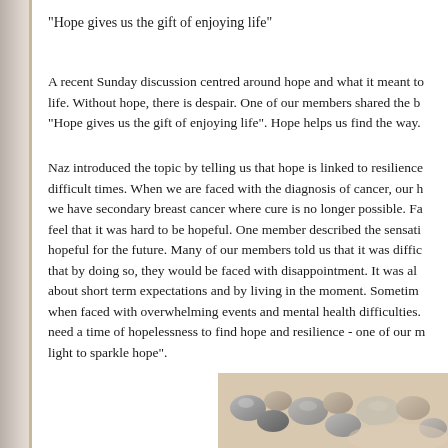“Hope gives us the gift of enjoying life”
A recent Sunday discussion centred around hope and what it meant to life. Without hope, there is despair. One of our members shared the belief “Hope gives us the gift of enjoying life”. Hope helps us find the way.
Naz introduced the topic by telling us that hope is linked to resilience in difficult times. When we are faced with the diagnosis of cancer, our hope — we have secondary breast cancer where cure is no longer possible. Fa— feel that it was hard to be hopeful. One member described the sensation of hopeful for the future. Many of our members told us that it was difficult — that by doing so, they would be faced with disappointment. It was also about short term expectations and by living in the moment. Sometimes when faced with overwhelming events and mental health difficulties, need a time of hopelessness to find hope and resilience - one of our m— light to sparkle hope”.
[Figure (photo): Photo of smooth pebble stones being held in hands, at the bottom right of the page.]